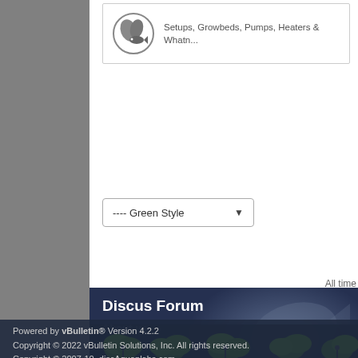[Figure (logo): Circular logo with plant/leaf and fish icon in gray]
Setups, Growbeds, Pumps, Heaters & Whatn...
---- Green Style
All time
Discus Forum
About us
Support Forum
Contact Us
Advertising
Account Information
Register for Free
Powered by vBulletin® Version 4.2.2
Copyright © 2022 vBulletin Solutions, Inc. All rights reserved.
Copyright © 2007-10, discAquaplabs.com